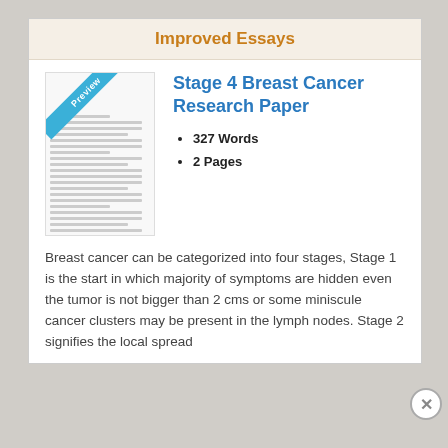Improved Essays
[Figure (other): Preview thumbnail of a document page with a 'Preview' ribbon banner in blue]
Stage 4 Breast Cancer Research Paper
327 Words
2 Pages
Breast cancer can be categorized into four stages, Stage 1 is the start in which majority of symptoms are hidden even the tumor is not bigger than 2 cms or some miniscule cancer clusters may be present in the lymph nodes. Stage 2 signifies the local spread